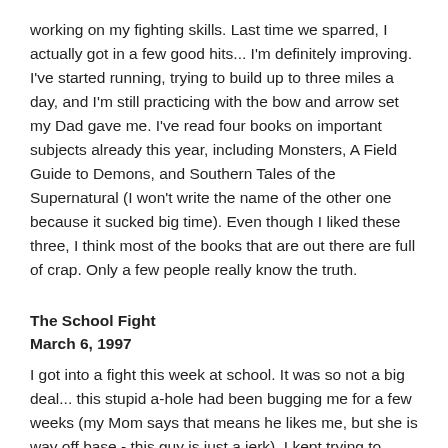working on my fighting skills. Last time we sparred, I actually got in a few good hits... I'm definitely improving. I've started running, trying to build up to three miles a day, and I'm still practicing with the bow and arrow set my Dad gave me. I've read four books on important subjects already this year, including Monsters, A Field Guide to Demons, and Southern Tales of the Supernatural (I won't write the name of the other one because it sucked big time). Even though I liked these three, I think most of the books that are out there are full of crap. Only a few people really know the truth.
The School Fight
March 6, 1997
I got into a fight this week at school. It was so not a big deal... this stupid a-hole had been bugging me for a few weeks (my Mom says that means he likes me, but she is way off base - this guy is just a jerk). I kept trying to ignore him, but then yesterday he followed me outside after lunch, taunting me, and I don't know, something in me snapped... I turned around and slugged him. Right in the jaw, with everything I had... and man, did he go down hard.